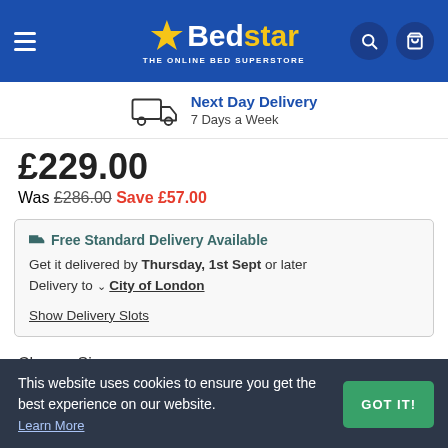[Figure (logo): Bedstar logo with star icon - THE ONLINE BED SUPERSTORE]
Next Day Delivery
7 Days a Week
£229.00
Was £286.00  Save £57.00
🚚 Free Standard Delivery Available
Get it delivered by Thursday, 1st Sept or later
Delivery to ✓ City of London

Show Delivery Slots
Choose Size
This website uses cookies to ensure you get the best experience on our website.
Learn More
GOT IT!